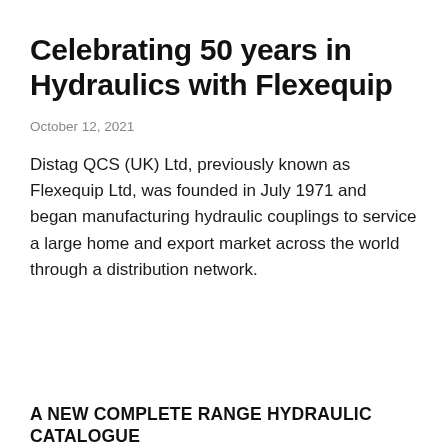Celebrating 50 years in Hydraulics with Flexequip
October 12, 2021
Distag QCS (UK) Ltd, previously known as Flexequip Ltd, was founded in July 1971 and began manufacturing hydraulic couplings to service a large home and export market across the world through a distribution network.
A NEW COMPLETE RANGE HYDRAULIC CATALOGUE